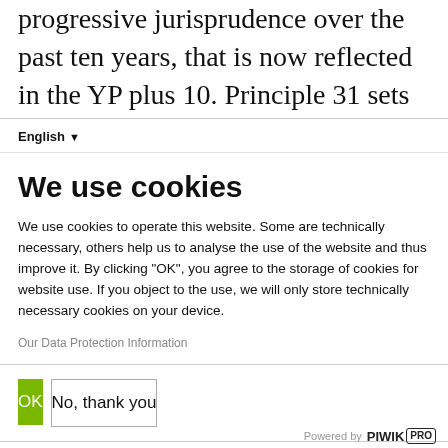progressive jurisprudence over the past ten years, that is now reflected in the YP plus 10. Principle 31 sets out the right to legal recognition “without reference to, assignment or disclosure of” sex, gender, or SOGIESC; the right to ID documents; and the right to change gendered information such as
English ▾
We use cookies
We use cookies to operate this website. Some are technically necessary, others help us to analyse the use of the website and thus improve it. By clicking "OK", you agree to the storage of cookies for website use. If you object to the use, we will only store technically necessary cookies on your device.
Our Data Protection Information
OK
No, thank you
Powered by PIWIK PRO